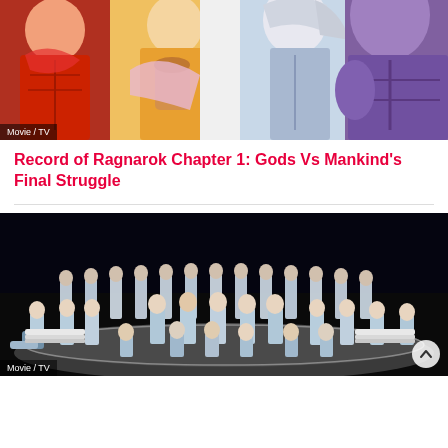[Figure (illustration): Colorful anime-style illustration showing muscular fighters/characters in vibrant red, orange, blue, purple tones — Record of Ragnarok characters]
Movie / TV
Record of Ragnarok Chapter 1: Gods Vs Mankind's Final Struggle
[Figure (photo): Group photo of K-pop idol group (approximately 20+ members) dressed in light blue/white suits posing on a stage with a circular platform under dark lighting]
Movie / TV